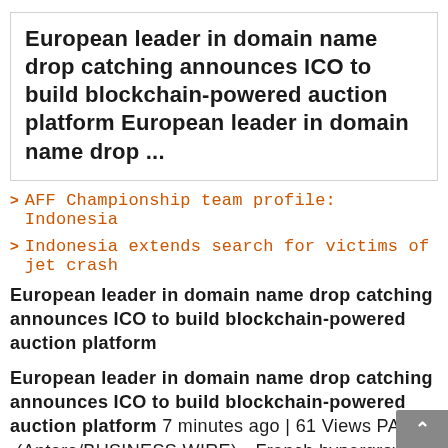European leader in domain name drop catching announces ICO to build blockchain-powered auction platform European leader in domain name drop ...
AFF Championship team profile: Indonesia
Indonesia extends search for victims of jet crash
European leader in domain name drop catching announces ICO to build blockchain-powered auction platform
European leader in domain name drop catching announces ICO to build blockchain-powered auction platform 7 minutes ago | 61 Views PARIS--(Antara/BUSINESS WIRE)-- French hypergrowth startup DomRaider aspires to develop an open-s...